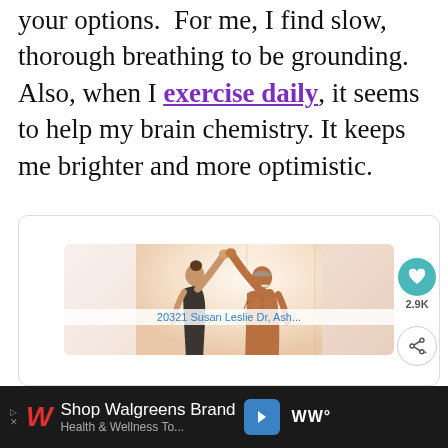your options.  For me, I find slow, thorough breathing to be grounding. Also, when I exercise daily, it seems to help my brain chemistry. It keeps me brighter and more optimistic.
[Figure (photo): Two people giving a high-five, one woman with hair up wearing a dark tank top, one older man with white beard and muscular build, both with arms raised meeting palms overhead, bright light background]
20321 Susan Leslie Dr, Ash...
Shop Walgreens Brand